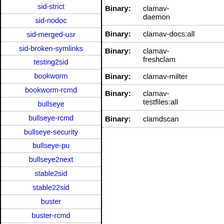sid-strict
sid-nodoc
sid-merged-usr
sid-broken-symlinks
testing2sid
bookworm
bookworm-rcmd
bullseye
bullseye-rcmd
bullseye-security
bullseye-pu
bullseye2next
stable2sid
stable22sid
buster
buster-rcmd
buster-security
buster-pu
| Type | Package |
| --- | --- |
| Binary: | clamav-daemon |
| Binary: | clamav-docs:all |
| Binary: | clamav-freshclam |
| Binary: | clamav-milter |
| Binary: | clamav-testfiles:all |
| Binary: | clamdscan |